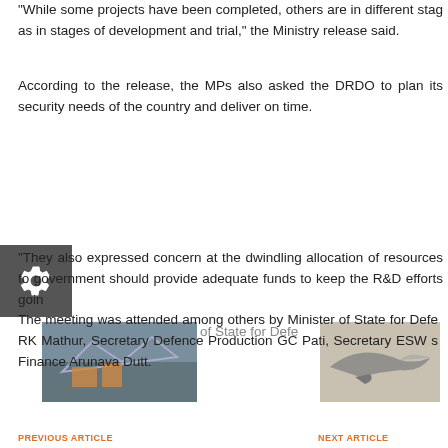"While some projects have been completed, others are in different stages as in stages of development and trial," the Ministry release said.
According to the release, the MPs also asked the DRDO to plan its security needs of the country and deliver on time.
"They also expressed concern at the dwindling allocation of resources for government should provide adequate funds to keep the R&D efforts going
The meeting was attended among others by Minister of State for Defence RK Mathur, Secretary Defence Production GC Pati, Secretary ESW s Finance Arunava Dutt.
PREVIOUS ARTICLE
NEXT ARTICLE
The MPs who attended the meeting included Murli S Deora, HK Dua, Navin Jindal, Gajanan Dharmshi Babar, Shivaji Adhalrao Patil, SS Rams Ahmed, Ishwarlal Jain and Shivanand Tiwari.
Speaking at the Mmeeting, DRDO chief Avinash Chander said structure from September 2 this year in the functioning of DRDO in line with the Committee Report for greater efficiency and accountability.
Tags: